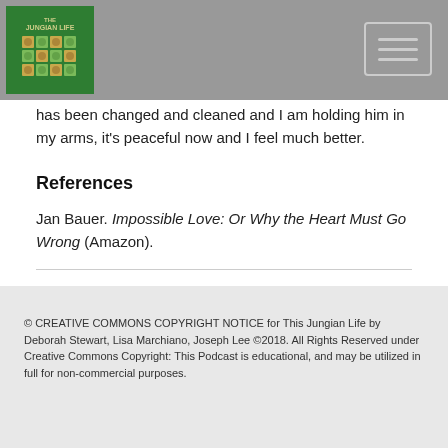The Jungian Life
has been changed and cleaned and I am holding him in my arms, it's peaceful now and I feel much better.
References
Jan Bauer. Impossible Love: Or Why the Heart Must Go Wrong (Amazon).
© CREATIVE COMMONS COPYRIGHT NOTICE for This Jungian Life by Deborah Stewart, Lisa Marchiano, Joseph Lee ©2018. All Rights Reserved under Creative Commons Copyright: This Podcast is educational, and may be utilized in full for non-commercial purposes.